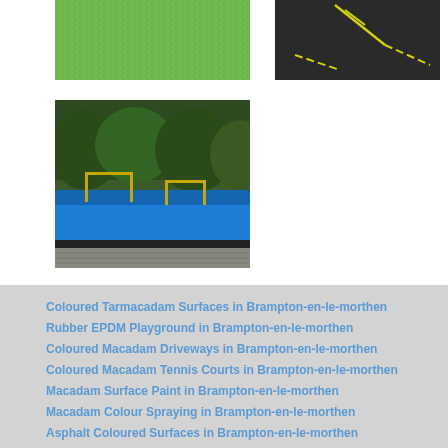[Figure (photo): Close-up of a green artificial turf or tarmacadam surface]
[Figure (photo): Dark tarmac surface with yellow line markings]
[Figure (photo): Outdoor sports area with blue EPDM rubber surface and yellow metal goal posts, surrounded by dark tarmac and trees in background]
Coloured Tarmacadam Surfaces in Brampton-en-le-morthen
Rubber EPDM Playground in Brampton-en-le-morthen
Coloured Macadam Driveways in Brampton-en-le-morthen
Coloured Macadam Tennis Courts in Brampton-en-le-morthen
Macadam Surface Paint in Brampton-en-le-morthen
Macadam Colour Spraying in Brampton-en-le-morthen
Asphalt Coloured Surfaces in Brampton-en-le-morthen
Tarmacadam Anti Slip Paint in Brampton-en-le-morthen